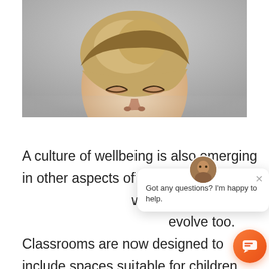[Figure (photo): Close-up photograph of a young boy with a bowl haircut and closed eyes, looking downward, against a gray background]
A culture of wellbeing is also emerging in other aspects of school life, including the way which we teach and the spaces in which we evolve too. Classrooms are now designed to include spaces suitable for children with different learning styles and additional needs. Many learning environments now have